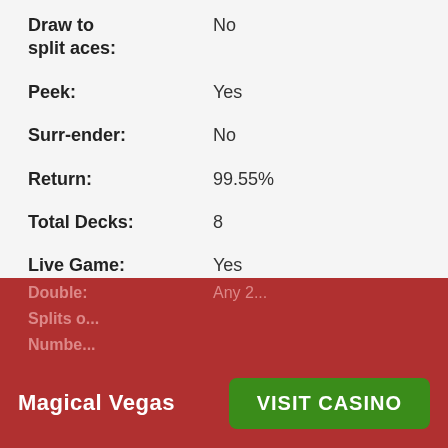Draw to split aces: No
Peek: Yes
Surr-ender: No
Return: 99.55%
Total Decks: 8
Live Game: Yes
Game: Live Dealer Blackjack
BJ Pays: 1.5
Soft 17: Stand
Double After Split: No
Magical Vegas   VISIT CASINO